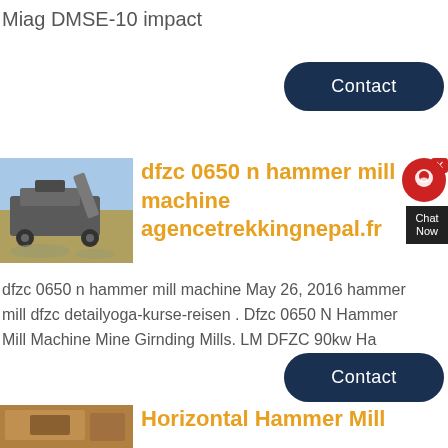Miag DMSE-10 impact
Contact
[Figure (photo): Photo of a mobile crushing/screening machine at a worksite with gravel and sky]
dfzc 0650 n hammer mill machine agencetrekkingnepal.fr
dfzc 0650 n hammer mill machine May 26, 2016 hammer mill dfzc detailyoga-kurse-reisen . Dfzc 0650 N Hammer Mill Machine Mine Girnding Mills. LM DFZC 90kw Ha
Contact
Horizontal Hammer Mill